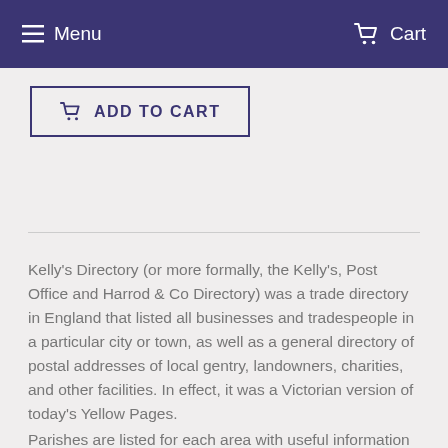Menu   Cart
ADD TO CART
Kelly's Directory (or more formally, the Kelly's, Post Office and Harrod & Co Directory) was a trade directory in England that listed all businesses and tradespeople in a particular city or town, as well as a general directory of postal addresses of local gentry, landowners, charities, and other facilities. In effect, it was a Victorian version of today's Yellow Pages.
Parishes are listed for each area with useful information